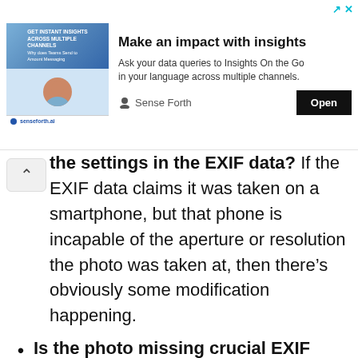[Figure (other): Advertisement banner: image of woman with phone on left, bold headline 'Make an impact with insights', subtext 'Ask your data queries to Insights On the Go in your language across multiple channels.', Open button, Sense Forth branding.]
the settings in the EXIF data? If the EXIF data claims it was taken on a smartphone, but that phone is incapable of the aperture or resolution the photo was taken at, then there's obviously some modification happening.
Is the photo missing crucial EXIF data? This can be the simplest and easiest way to tell, but it requires you to know what data the camera or